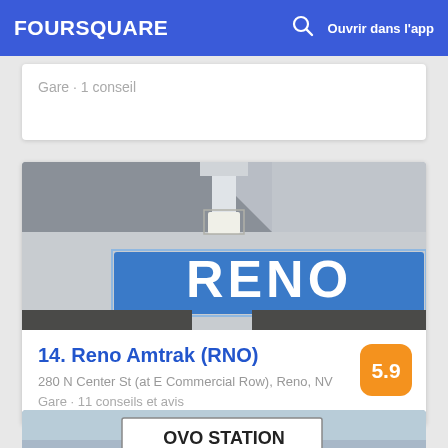FOURSQUARE   Ouvrir dans l'app
Gare · 1 conseil
[Figure (photo): Photo of a Reno Amtrak station sign reading 'RENO' in white text on a blue background, with a light fixture above and concrete walls visible.]
14. Reno Amtrak (RNO)
280 N Center St (at E Commercial Row), Reno, NV
Gare · 11 conseils et avis
[Figure (photo): Partial photo of a station sign reading 'OVO STATION' against a blue sky.]